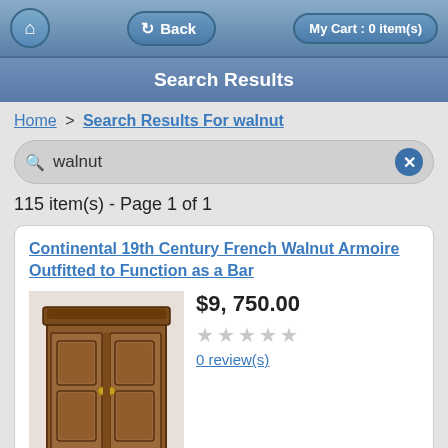Back  My Cart : 0 item(s)
Search Results
Home > Search Results For walnut
walnut
115 item(s) - Page 1 of 1
Continental 19th Century French Walnut Armoire Outfitted to Function as a Bar
$9, 750.00
0 review(s)
[Figure (photo): Antique French walnut armoire cabinet with carved wooden panels and double doors]
This beautiful and massive armoire in French walnut, has been outfitted as a bar cabinet. The interior features a wine rack that will hold 47 bottles, a slab of green marble has been added with cupboards flanking 2 drawers in the middle. The cupboard interiors are 15" high and the